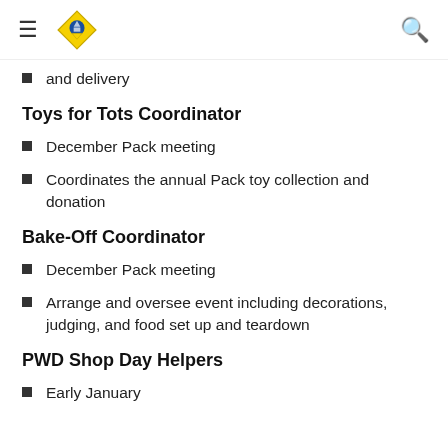≡ [Cub Scouts logo] 🔍
and delivery
Toys for Tots Coordinator
December Pack meeting
Coordinates the annual Pack toy collection and donation
Bake-Off Coordinator
December Pack meeting
Arrange and oversee event including decorations, judging, and food set up and teardown
PWD Shop Day Helpers
Early January